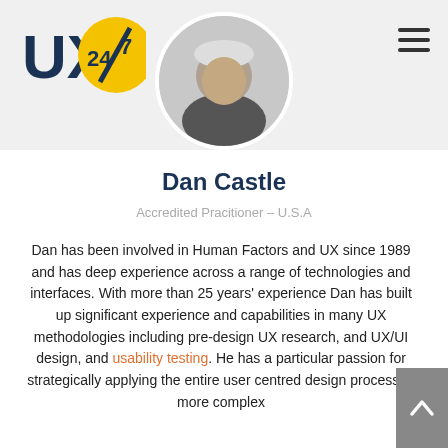[Figure (logo): UX247 logo — blue UX text with yellow circle containing 247]
[Figure (photo): Circular profile photo of Dan Castle, partially visible, person wearing dark clothing against light background]
Dan Castle
Accredited Pracitioner - U.S.A
Dan has been involved in Human Factors and UX since 1989 and has deep experience across a range of technologies and interfaces. With more than 25 years' experience Dan has built up significant experience and capabilities in many UX methodologies including pre-design UX research, and UX/UI design, and usability testing. He has a particular passion for strategically applying the entire user centred design process to more complex